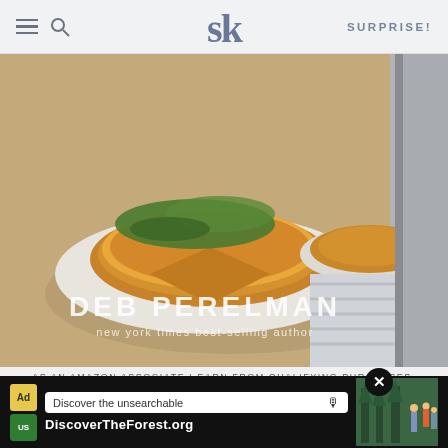SURPRISE!
[Figure (photo): Book cover featuring food photo of a potato galette on a white plate with greens, titled 'DEB PERELMAN new york times best-selling author']
AS AN AMAZON ASSOCIATE I EARN FROM QUALIFYING PURCHASES.
©2009–2022 SMITTEN KITCHEN. PROUDLY POWERED BY WORDPRESS. HOSTED BY PRESSABLE.
[Figure (screenshot): Ad banner for DiscoverTheForest.org with text 'Discover the unsearchable' and forest photo]